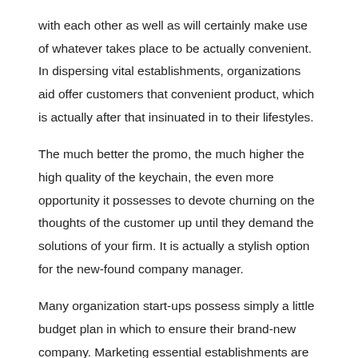with each other as well as will certainly make use of whatever takes place to be actually convenient. In dispersing vital establishments, organizations aid offer customers that convenient product, which is actually after that insinuated in to their lifestyles.
The much better the promo, the much higher the high quality of the keychain, the even more opportunity it possesses to devote churning on the thoughts of the customer up until they demand the solutions of your firm. It is actually a stylish option for the new-found company manager.
Many organization start-ups possess simply a little budget plan in which to ensure their brand-new company. Marketing essential establishments are actually one of the absolute best means to market an organization without possessing to invest a lot of money.
There is actually some component of the individual thoughts that proclaims that they may require this product, and also thus also if it